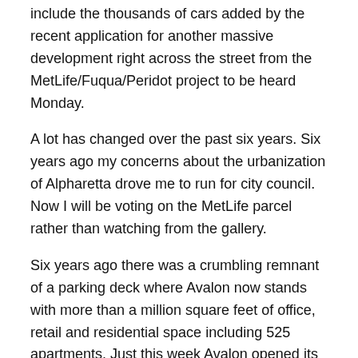include the thousands of cars added by the recent application for another massive development right across the street from the MetLife/Fuqua/Peridot project to be heard Monday.
A lot has changed over the past six years. Six years ago my concerns about the urbanization of Alpharetta drove me to run for city council. Now I will be voting on the MetLife parcel rather than watching from the gallery.
Six years ago there was a crumbling remnant of a parking deck where Avalon now stands with more than a million square feet of office, retail and residential space including 525 apartments. Just this week Avalon opened its second phase and the hotel-convention center is scheduled to open next year.
Six years ago Alpharetta city council members assured me